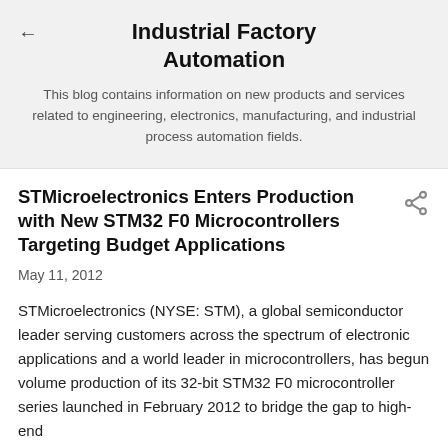Industrial Factory Automation
This blog contains information on new products and services related to engineering, electronics, manufacturing, and industrial process automation fields.
STMicroelectronics Enters Production with New STM32 F0 Microcontrollers Targeting Budget Applications
May 11, 2012
STMicroelectronics (NYSE: STM), a global semiconductor leader serving customers across the spectrum of electronic applications and a world leader in microcontrollers, has begun volume production of its 32-bit STM32 F0 microcontroller series launched in February 2012 to bridge the gap to high-end